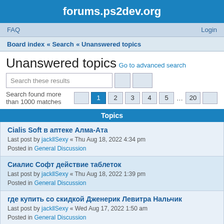forums.ps2dev.org
FAQ   Login
Board index  «  Search  «  Unanswered topics
Unanswered topics
Go to advanced search
Search these results
Search found more than 1000 matches  1 2 3 4 5 ... 20
Topics
Cialis Soft в аптеке Алма-Ата
Last post by jackllSexy « Thu Aug 18, 2022 4:34 pm
Posted in General Discussion
Сиалис Софт действие таблеток
Last post by jackllSexy « Thu Aug 18, 2022 1:39 pm
Posted in General Discussion
где купить со скидкой Дженерик Левитра Нальчик
Last post by jackllSexy « Wed Aug 17, 2022 1:50 am
Posted in General Discussion
как заказать Cialis Soft
Last post by jackllSexy « Tue Aug 16, 2022 12:55